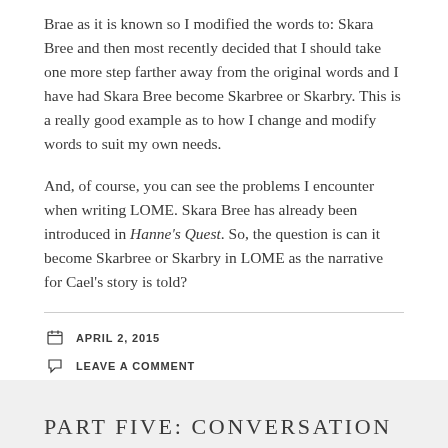Brae as it is known so I modified the words to: Skara Bree and then most recently decided that I should take one more step farther away from the original words and I have had Skara Bree become Skarbree or Skarbry. This is a really good example as to how I change and modify words to suit my own needs.
And, of course, you can see the problems I encounter when writing LOME. Skara Bree has already been introduced in Hanne's Quest. So, the question is can it become Skarbree or Skarbry in LOME as the narrative for Cael's story is told?
APRIL 2, 2015
LEAVE A COMMENT
PART FIVE: CONVERSATION